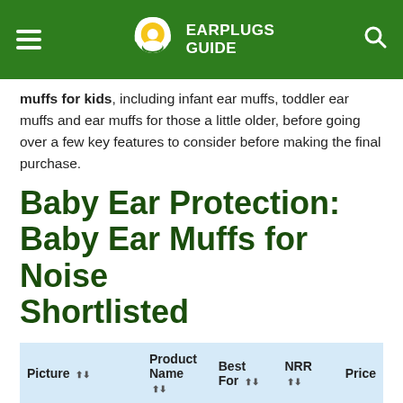EARPLUGS GUIDE
muffs for kids, including infant ear muffs, toddler ear muffs and ear muffs for those a little older, before going over a few key features to consider before making the final purchase.
Baby Ear Protection: Baby Ear Muffs for Noise Shortlisted
| Picture | Product Name | Best For | NRR | Price |
| --- | --- | --- | --- | --- |
| [image] | Em's 4 Bubs Earmuffs | Babies & Young Toddlers | 22 dB | $$ |